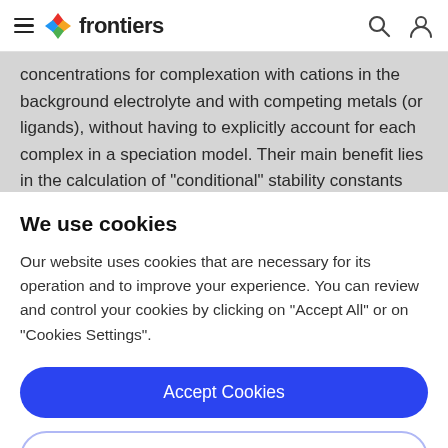frontiers
concentrations for complexation with cations in the background electrolyte and with competing metals (or ligands), without having to explicitly account for each complex in a speciation model. Their main benefit lies in the calculation of "conditional" stability constants and
We use cookies
Our website uses cookies that are necessary for its operation and to improve your experience. You can review and control your cookies by clicking on "Accept All" or on "Cookies Settings".
Accept Cookies
Cookies Settings